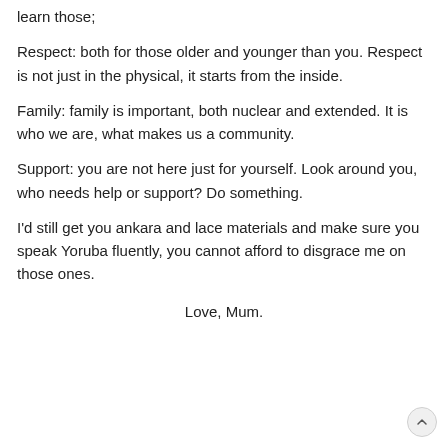learn those;
Respect: both for those older and younger than you. Respect is not just in the physical, it starts from the inside.
Family: family is important, both nuclear and extended. It is who we are, what makes us a community.
Support: you are not here just for yourself. Look around you, who needs help or support? Do something.
I'd still get you ankara and lace materials and make sure you speak Yoruba fluently, you cannot afford to disgrace me on those ones.
Love, Mum.